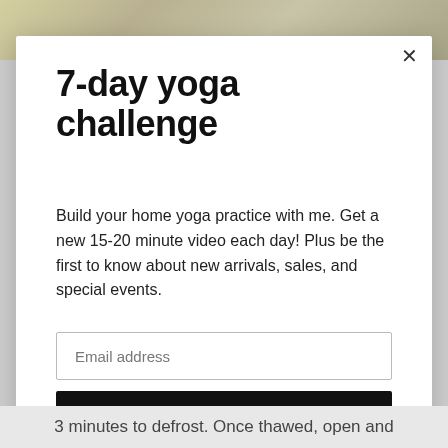[Figure (photo): Partial view of a food or nature photo in muted green and brown tones, cropped at the top of the page behind a modal dialog]
7-day yoga challenge
Build your home yoga practice with me. Get a new 15-20 minute video each day! Plus be the first to know about new arrivals, sales, and special events.
Email address
Subscribe
3 minutes to defrost. Once thawed, open and